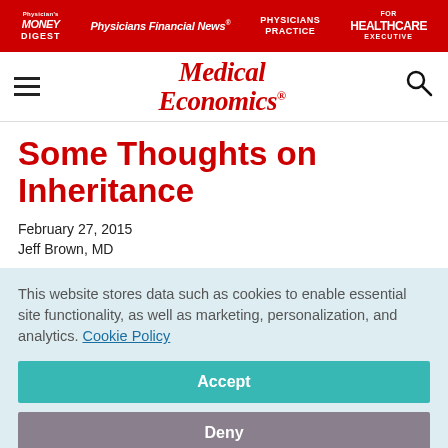Physician's Money Digest | Physicians Financial News | Physicians Practice | Healthcare Executive
[Figure (logo): Medical Economics logo with navigation bar including hamburger menu and search icon]
Some Thoughts on Inheritance
February 27, 2015
Jeff Brown, MD
This website stores data such as cookies to enable essential site functionality, as well as marketing, personalization, and analytics. Cookie Policy
Accept
Deny